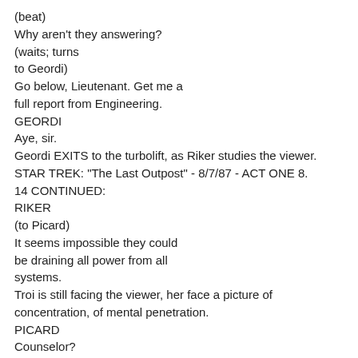(beat)
Why aren't they answering?
(waits; turns
to Geordi)
Go below, Lieutenant. Get me a
full report from Engineering.
GEORDI
Aye, sir.
Geordi EXITS to the turbolift, as Riker studies the viewer.
STAR TREK: "The Last Outpost" - 8/7/87 - ACT ONE 8.
14 CONTINUED:
RIKER
(to Picard)
It seems impossible they could
be draining all power from all
systems.
Troi is still facing the viewer, her face a picture of concentration, of mental penetration.
PICARD
Counselor?